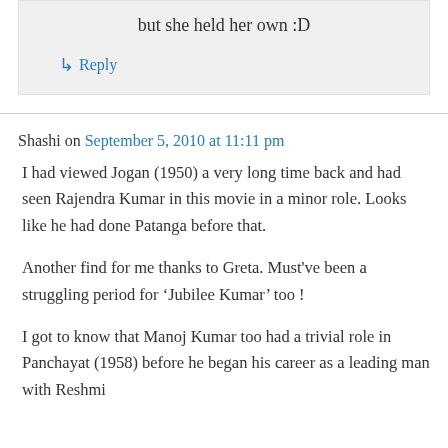but she held her own :D
↳ Reply
Shashi on September 5, 2010 at 11:11 pm
I had viewed Jogan (1950) a very long time back and had seen Rajendra Kumar in this movie in a minor role. Looks like he had done Patanga before that.
Another find for me thanks to Greta. Must've been a struggling period for ‘Jubilee Kumar’ too !
I got to know that Manoj Kumar too had a trivial role in Panchayat (1958) before he began his career as a leading man with Reshmi